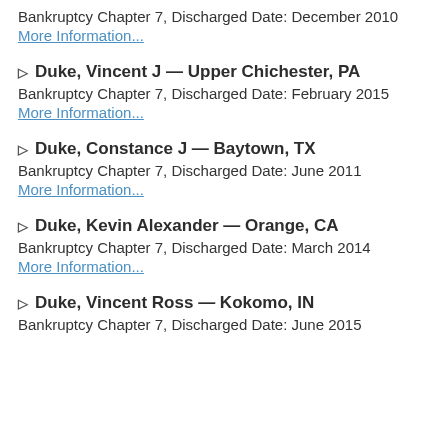Bankruptcy Chapter 7, Discharged Date: December 2010
More Information...
▷ Duke, Vincent J — Upper Chichester, PA
Bankruptcy Chapter 7, Discharged Date: February 2015
More Information...
▷ Duke, Constance J — Baytown, TX
Bankruptcy Chapter 7, Discharged Date: June 2011
More Information...
▷ Duke, Kevin Alexander — Orange, CA
Bankruptcy Chapter 7, Discharged Date: March 2014
More Information...
▷ Duke, Vincent Ross — Kokomo, IN
Bankruptcy Chapter 7, Discharged Date: June 2015